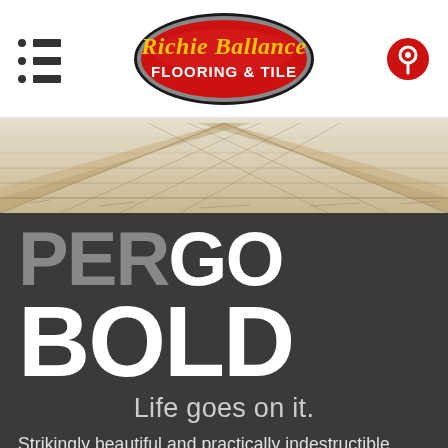[Figure (logo): Richie Ballance Flooring & Tile logo — red oval with yellow script text 'Richie Ballance' and white bold text 'FLOORING & TILE']
[Figure (photo): Close-up photo of light wood plank flooring viewed at an angle]
PERGO BOLD
Life goes on it.
Strikingly beautiful and practically indestructible. Finally, a floor that can handle whatever lands on it—and look good at the same time.